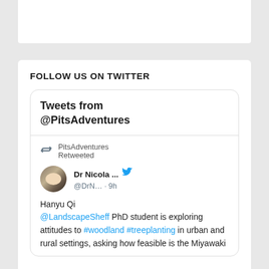FOLLOW US ON TWITTER
[Figure (screenshot): Embedded Twitter/X widget showing 'Tweets from @PitsAdventures'. Contains a retweet by PitsAdventures from Dr Nicola ... (@DrN... · 9h) about Hanyu Qi @LandscapeSheff PhD student exploring attitudes to #woodland #treeplanting in urban and rural settings, asking how feasible is the Miyawaki...]